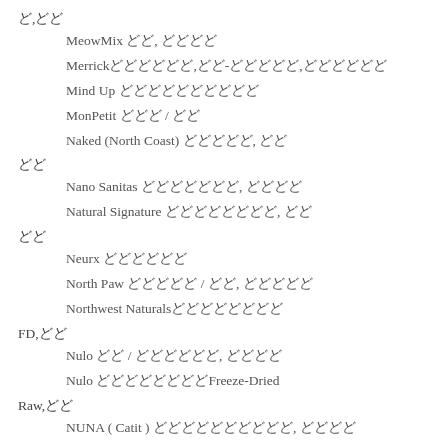ど,どど
MeowMix どど, どどどど
Merrickどどどどどど,どど-どどどどど,どどどどどど
Mind Up どどどどどどどどどど
MonPetit どどど / どど
Naked (North Coast) どどどどど, どど
どど
Nano Sanitas どどどどどどど, どどどど
Natural Signature どどどどどどどど, どど
どど
Neurx どどどどどど
North Paw どどどどど / どど, どどどどど
Northwest Naturalsどどどどどどどど
FD,どど
Nulo どど / どどどどどど, どどどど
Nulo どどどどどどどどFreeze-Dried
Raw,どど
NUNA ( Catit ) どどどどどどどどどど, どどどど